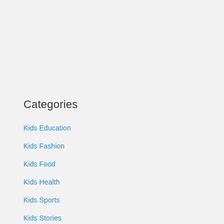Categories
Kids Education
Kids Fashion
Kids Food
Kids Health
Kids Sports
Kids Stories
Parenting